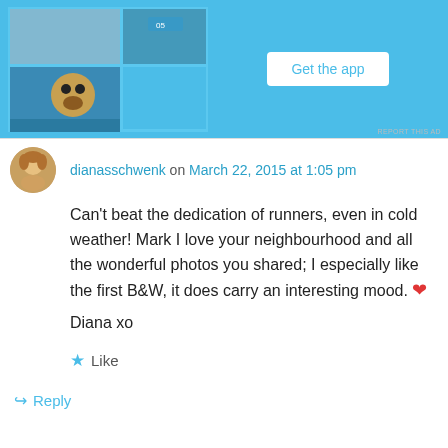[Figure (screenshot): Mobile app advertisement banner with blue background showing phone mockup with photos and a 'Get the app' button]
dianasschwenk on March 22, 2015 at 1:05 pm
Can't beat the dedication of runners, even in cold weather! Mark I love your neighbourhood and all the wonderful photos you shared; I especially like the first B&W, it does carry an interesting mood. ❤
Diana xo
★ Like
↪ Reply